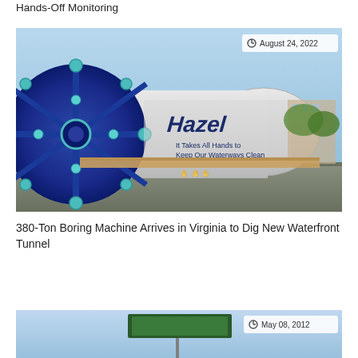Hands-Off Monitoring
[Figure (photo): Large tunnel boring machine named 'Hazel' with blue cutter head, lying on its side at a staging area in Virginia. Text on the machine reads 'Hazel - It Takes All Hands to Keep Our Waterways Clean' with hand prints.]
August 24, 2022
380-Ton Boring Machine Arrives in Virginia to Dig New Waterfront Tunnel
[Figure (photo): Partial view of a solar panel or outdoor equipment under blue sky.]
May 08, 2012